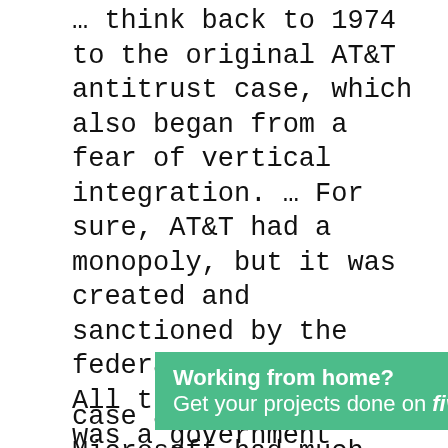… think back to 1974 to the original AT&T antitrust case, which also began from a fear of vertical integration. … For sure, AT&T had a monopoly, but it was created and sanctioned by the federal government. All that was needed was a government deregulation order and a green light that it wouldn't block competitors. Instead, the U.S. sued to break up Ma Bell. … If the U.S. had simply deregulated plain old telephone service, any one of these technologies could have forced AT&T to adjust or dis… case against Microsoft had much the
[Figure (infographic): Green advertisement banner for Fiverr: 'Working from home? Get your projects done on fiverr']